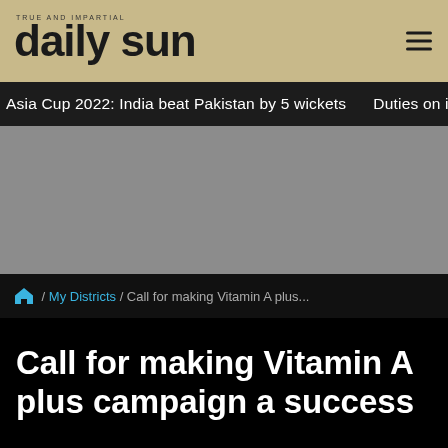daily sun — TRUE AND IMPARTIAL
Asia Cup 2022: India beat Pakistan by 5 wickets   Duties on import c
[Figure (other): Gray advertisement banner placeholder]
/ My Districts / Call for making Vitamin A plus...
Call for making Vitamin A plus campaign a success
[Figure (logo): Daily Sun logo watermark — 'TRUE AND IMPARTIAL' tagline above large 'ds' letters in gray on light background]